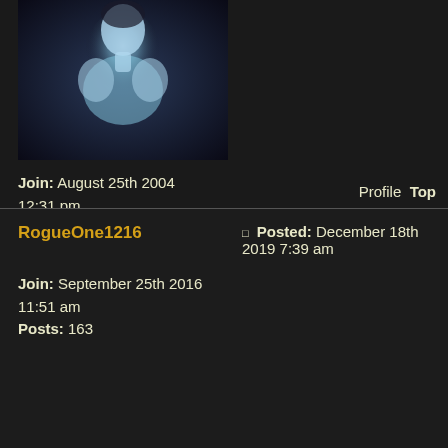[Figure (photo): Avatar image showing a glowing blue/white figure silhouette against dark background]
Join: August 25th 2004 12:31 pm
Posts: 3644
Profile  Top
RogueOne1216
Posted: December 18th 2019 7:39 am
Join: September 25th 2016 11:51 am
Posts: 163